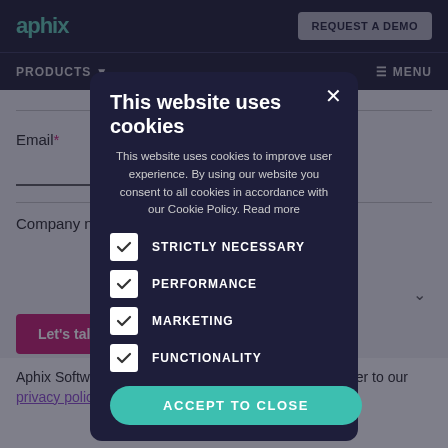[Figure (screenshot): Aphix website background with top navigation bar showing logo and REQUEST A DEMO button, a PRODUCTS nav item, form fields for Email and Company name, a Let's talk button, and footer text about privacy policy]
This website uses cookies
This website uses cookies to improve user experience. By using our website you consent to all cookies in accordance with our Cookie Policy. Read more
STRICTLY NECESSARY
PERFORMANCE
MARKETING
FUNCTIONALITY
ACCEPT TO CLOSE